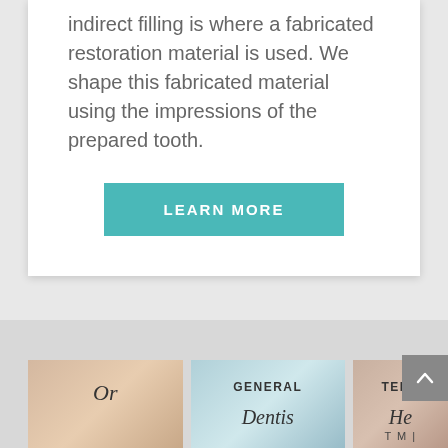indirect filling is where a fabricated restoration material is used. We shape this fabricated material using the impressions of the prepared tooth.
LEARN MORE
[Figure (photo): Dental service category card showing partial text 'Or' in script style]
[Figure (photo): Dental service card showing 'GENERAL Dentis...' with dental procedure image]
[Figure (photo): Dental service card showing 'TENS He...' partially visible]